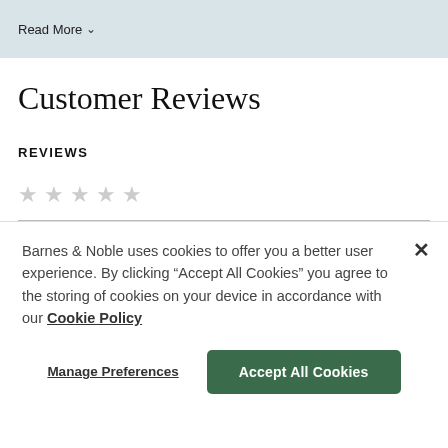Read More ∨
Customer Reviews
REVIEWS
★★★★★ (empty stars, rating input)
Barnes & Noble uses cookies to offer you a better user experience. By clicking "Accept All Cookies" you agree to the storing of cookies on your device in accordance with our Cookie Policy
Manage Preferences
Accept All Cookies